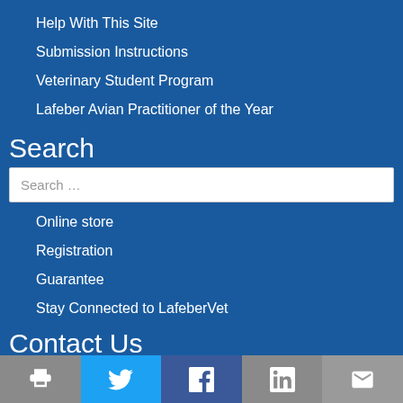Help With This Site
Submission Instructions
Veterinary Student Program
Lafeber Avian Practitioner of the Year
Search
Search …
Online store
Registration
Guarantee
Stay Connected to LafeberVet
Contact Us
[Figure (infographic): Social media and print icon bar at the bottom: print icon (gray), Twitter bird icon (blue), Facebook f icon (dark blue/purple), LinkedIn in icon (gray), email envelope icon (gray)]